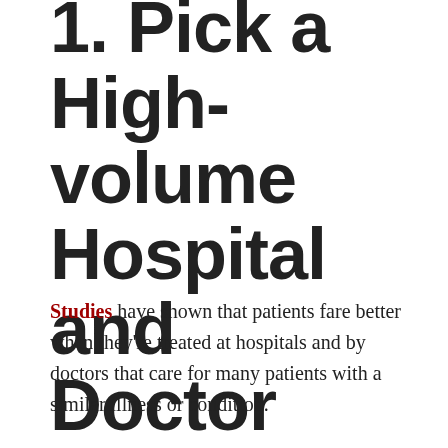1. Pick a High-volume Hospital and Doctor
Studies have shown that patients fare better when they're treated at hospitals and by doctors that care for many patients with a similar illness or condition.